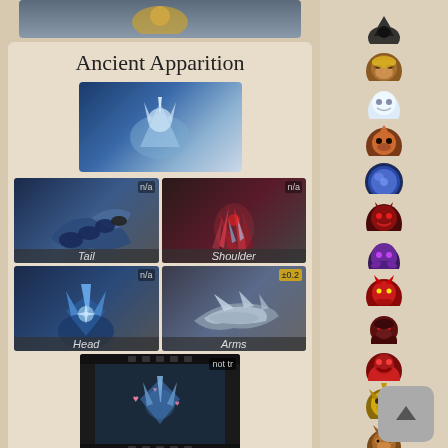[Figure (screenshot): Dota 2 hero cosmetics browser page showing Ancient Apparition hero with item slots: Tail (n/a), Shoulder (n/a), Head (n/a), Arms (±0.2), and a video clip marked 'not tr'. Below is Anti-Mage section starting. Right sidebar shows pixel art hero icons.]
Ancient Apparition
Tail
Shoulder
Head
Arms
Anti-Mage